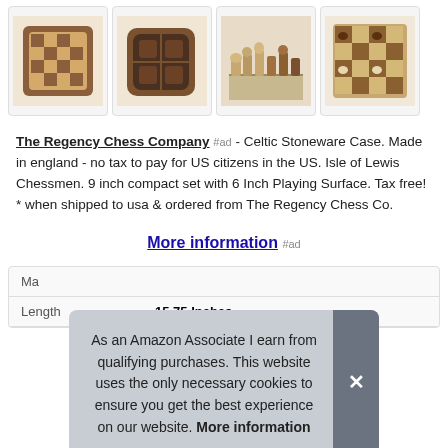[Figure (photo): Row of four chess set product thumbnail images showing different angles and styles of chess sets]
The Regency Chess Company #ad - Celtic Stoneware Case. Made in england - no tax to pay for US citizens in the US. Isle of Lewis Chessmen. 9 inch compact set with 6 Inch Playing Surface. Tax free! * when shipped to usa & ordered from The Regency Chess Co.
More information #ad
| Ma |  |
| Length | 15.75 Inches |
As an Amazon Associate I earn from qualifying purchases. This website uses the only necessary cookies to ensure you get the best experience on our website. More information